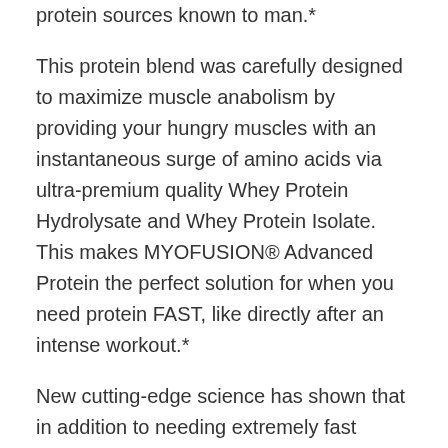protein sources known to man.*
This protein blend was carefully designed to maximize muscle anabolism by providing your hungry muscles with an instantaneous surge of amino acids via ultra-premium quality Whey Protein Hydrolysate and Whey Protein Isolate. This makes MYOFUSION® Advanced Protein the perfect solution for when you need protein FAST, like directly after an intense workout.*
New cutting-edge science has shown that in addition to needing extremely fast acting protein, the most powerful way to gain lean body mass is to also consume a precise ratio of both Whey Protein and Casein Protein. Via the blend of Milk Protein Isolate, Micellar